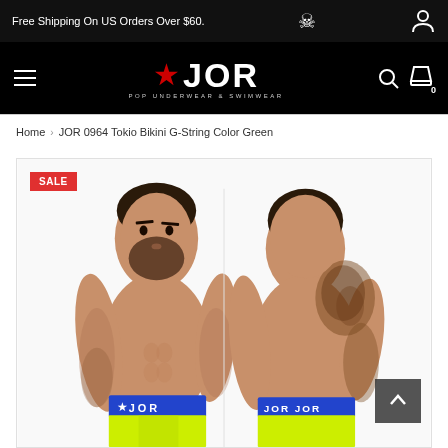Free Shipping On US Orders Over $60.
[Figure (screenshot): JOR brand navigation bar with hamburger menu, star+JOR logo (POP UNDERWEAR & SWIMWEAR), search icon, and cart icon with 0 badge, on black background]
Home › JOR 0964 Tokio Bikini G-String Color Green
[Figure (photo): Product photo showing front and back views of a male model wearing JOR 0964 Tokio Bikini G-String in green/yellow with blue JOR waistband. SALE badge in top-left corner.]